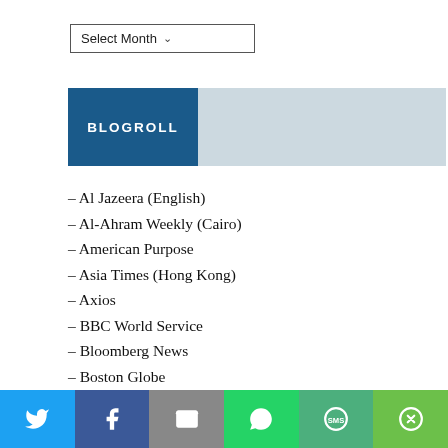Select Month
BLOGROLL
– Al Jazeera (English)
– Al-Ahram Weekly (Cairo)
– American Purpose
– Asia Times (Hong Kong)
– Axios
– BBC World Service
– Bloomberg News
– Boston Globe
– Business Insider
– Buzzfeed News